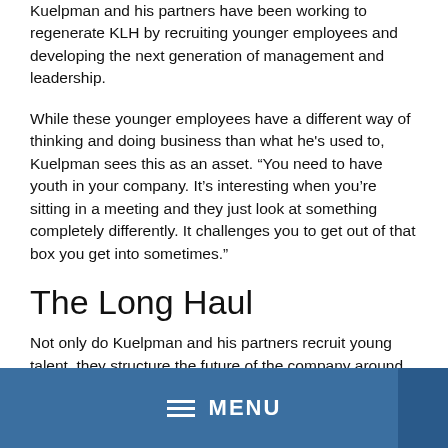Kuelpman and his partners have been working to regenerate KLH by recruiting younger employees and developing the next generation of management and leadership.
While these younger employees have a different way of thinking and doing business than what he's used to, Kuelpman sees this as an asset. “You need to have youth in your company. It’s interesting when you’re sitting in a meeting and they just look at something completely differently. It challenges you to get out of that box you get into sometimes.”
The Long Haul
Not only do Kuelpman and his partners recruit young talent, they structure the future of the company around the notoriously difficult goal of keeping employees with the
MENU